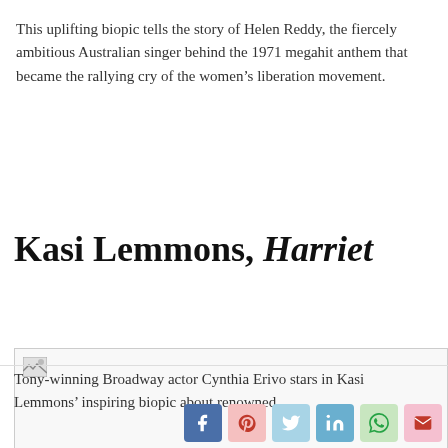This uplifting biopic tells the story of Helen Reddy, the fiercely ambitious Australian singer behind the 1971 megahit anthem that became the rallying cry of the women's liberation movement.
Kasi Lemmons, Harriet
[Figure (photo): A partially loaded image placeholder for a Harriet film still]
Tony-winning Broadway actor Cynthia Erivo stars in Kasi Lemmons' inspiring biopic about renowned